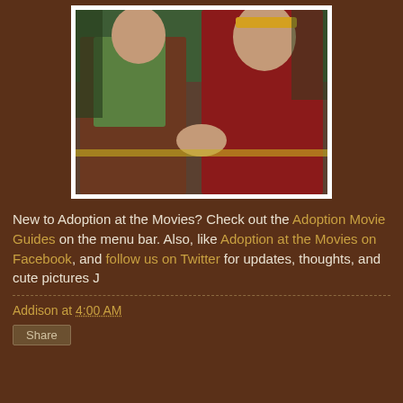[Figure (photo): Movie still showing two teenage characters shaking hands outdoors — a girl in a plaid jacket with a green hoodie and a boy in a red Nike hoodie wearing a yellow headband, with trees in the background.]
New to Adoption at the Movies? Check out the Adoption Movie Guides on the menu bar. Also, like Adoption at the Movies on Facebook, and follow us on Twitter for updates, thoughts, and cute pictures J
Addison at 4:00 AM
Share